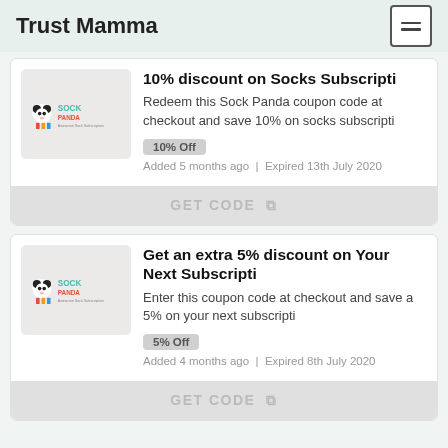Trust Mamma
10% discount on Socks Subscripti
Redeem this Sock Panda coupon code at checkout and save 10% on socks subscripti
10% Off
Added 5 months ago | Expired 13th July 2020
GET CODE
Get an extra 5% discount on Your Next Subscripti
Enter this coupon code at checkout and save a 5% on your next subscripti
5% Off
Added 4 months ago | Expired 8th July 2020
GET CODE